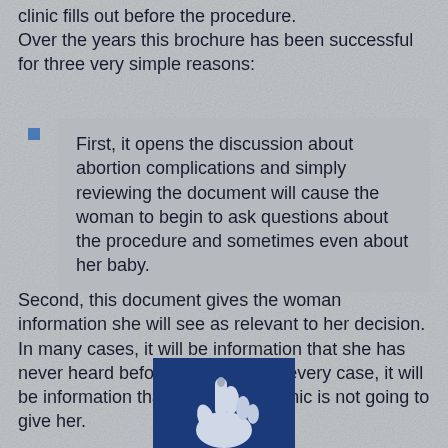clinic fills out before the procedure.
Over the years this brochure has been successful for three very simple reasons:
First, it opens the discussion about abortion complications and simply reviewing the document will cause the woman to begin to ask questions about the procedure and sometimes even about her baby.
Second, this document gives the woman information she will see as relevant to her decision. In many cases, it will be information that she has never heard before and in almost every case, it will be information that the abortion clinic is not going to give her.
[Figure (illustration): A blue background image showing a hand making a gesture, illustration style in white/blue tones]